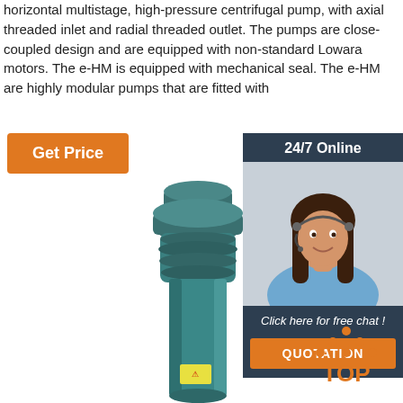horizontal multistage, high-pressure centrifugal pump, with axial threaded inlet and radial threaded outlet. The pumps are close-coupled design and are equipped with non-standard Lowara motors. The e-HM is equipped with mechanical seal. The e-HM are highly modular pumps that are fitted with
Get Price
24/7 Online
[Figure (photo): Customer service agent wearing headset, smiling, for online chat support]
Click here for free chat !
QUOTATION
[Figure (photo): Vertical multistage high-pressure centrifugal pump (e-HM), teal/dark green color, with ornate cast housing sections]
[Figure (other): TOP badge with orange dots arranged in triangle above text TOP in orange]